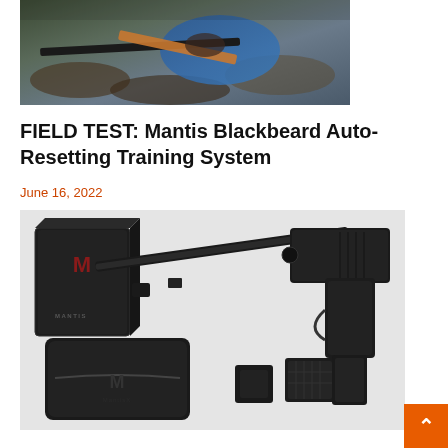[Figure (photo): Person lying prone in outdoor rocky terrain, holding a rifle with orange sling visible, wearing blue jacket]
FIELD TEST: Mantis Blackbeard Auto-Resetting Training System
June 16, 2022
[Figure (photo): Product photo showing Mantis Blackbeard training system components: black box with Mantis logo, long barrel/bolt carrier group, carrying case, pistol, and various accessories on white background]